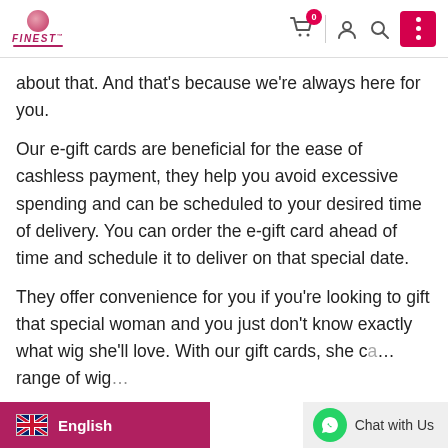Finest — navigation header with cart (0), user, search, and menu icons
about that. And that's because we're always here for you.
Our e-gift cards are beneficial for the ease of cashless payment, they help you avoid excessive spending and can be scheduled to your desired time of delivery. You can order the e-gift card ahead of time and schedule it to deliver on that special date.
They offer convenience for you if you're looking to gift that special woman and you just don't know exactly what wig she'll love. With our gift cards, she ca… range of wig… your gift as the receiver